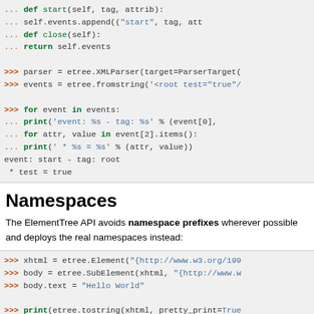[Figure (screenshot): Python code block showing a parser class definition with start and close methods, and parser/events usage with a for loop printing event and tag info. Output shown: 'event: start - tag: root' and ' * test = true']
Namespaces
The ElementTree API avoids namespace prefixes wherever possible and deploys the real namespaces instead:
[Figure (screenshot): Python code block showing xhtml = etree.Element with namespace URL, body = etree.SubElement, body.text = 'Hello World', print(etree.tostring(xhtml, pretty_print=True), and output: <html:html xmlns:html='http://www.w3.org/1999/xht']